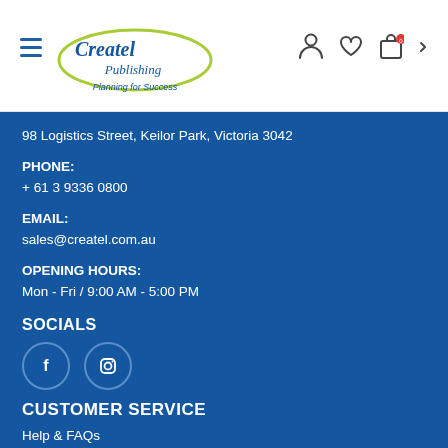Createl Publishing — Planning for Success | Navigation bar with hamburger menu, logo, and icons
98 Logistics Street, Keilor Park, Victoria 3042
PHONE:
+ 61 3 9336 0800
EMAIL:
sales@createl.com.au
OPENING HOURS:
Mon - Fri / 9:00 AM - 5:00 PM
SOCIALS
[Figure (illustration): Two circular social media icons: Facebook (f) and Instagram (camera) on blue background]
CUSTOMER SERVICE
Help & FAQs
Returns Policy
Shipping & Delivery